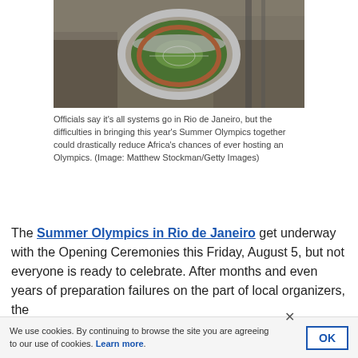[Figure (photo): Aerial view of a large stadium surrounded by dense urban cityscape in Rio de Janeiro]
Officials say it's all systems go in Rio de Janeiro, but the difficulties in bringing this year's Summer Olympics together could drastically reduce Africa's chances of ever hosting an Olympics. (Image: Matthew Stockman/Getty Images)
The Summer Olympics in Rio de Janeiro get underway with the Opening Ceremonies this Friday, August 5, but not everyone is ready to celebrate. After months and even years of preparation failures on the part of local organizers, the
We use cookies. By continuing to browse the site you are agreeing to our use of cookies. Learn more.